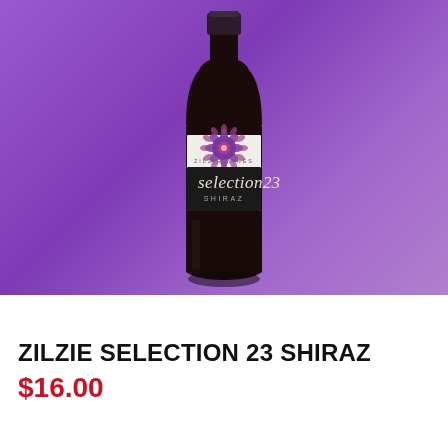[Figure (photo): A wine bottle of Zilzie Selection 23 Shiraz floating against a purple gradient background. The bottle has a dark (near-black) glass body. The label features a decorative mandala pattern in purple and pink on a white band, with 'ZILZIE WINES' text, 'selection 23' in large script, and 'SHIRAZ' below.]
ZILZIE SELECTION 23 SHIRAZ
$16.00